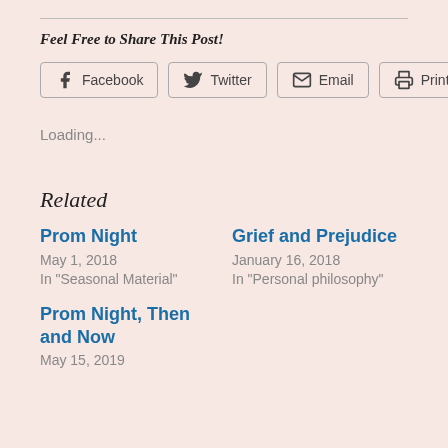Feel Free to Share This Post!
[Figure (other): Social sharing buttons: Facebook, Twitter, Email, Print]
Loading...
Related
Prom Night
May 1, 2018
In "Seasonal Material"
Grief and Prejudice
January 16, 2018
In "Personal philosophy"
Prom Night, Then and Now
May 15, 2019